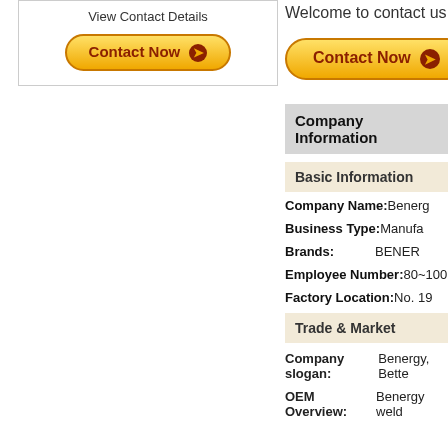View Contact Details
Contact Now →
Welcome to contact us
Contact Now →
Company Information
Basic Information
Company Name: Benerg
Business Type: Manufa
Brands: BENER
Employee Number: 80~100
Factory Location: No. 19
Trade & Market
Company slogan: Benergy, Bette
OEM Overview: Benergy weld